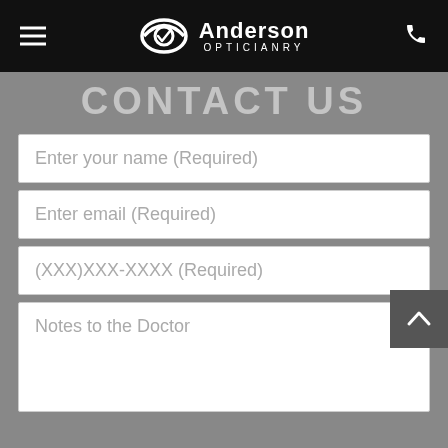Anderson Opticianry
CONTACT US
Enter your name (Required)
Enter email (Required)
(XXX)XXX-XXXX (Required)
Notes to the Doctor